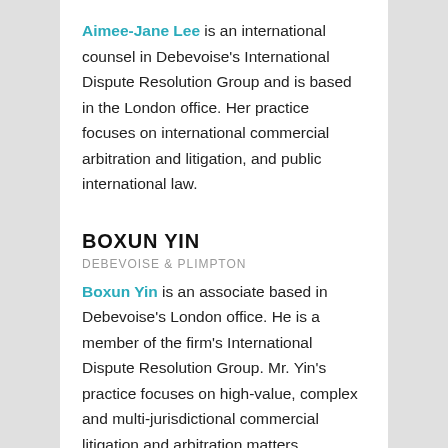Aimee-Jane Lee is an international counsel in Debevoise's International Dispute Resolution Group and is based in the London office. Her practice focuses on international commercial arbitration and litigation, and public international law.
BOXUN YIN
DEBEVOISE & PLIMPTON
Boxun Yin is an associate based in Debevoise's London office. He is a member of the firm's International Dispute Resolution Group. Mr. Yin's practice focuses on high-value, complex and multi-jurisdictional commercial litigation and arbitration matters.